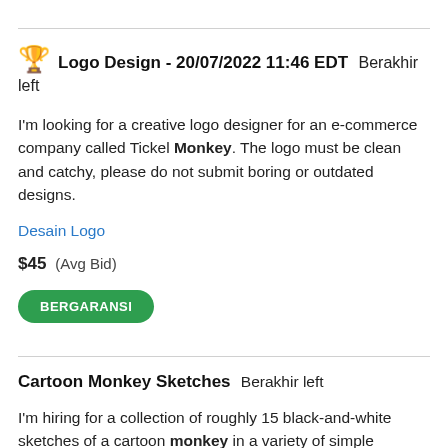🏆 Logo Design - 20/07/2022 11:46 EDT  Berakhir left
I'm looking for a creative logo designer for an e-commerce company called Tickel Monkey. The logo must be clean and catchy, please do not submit boring or outdated designs.
Desain Logo
$45  (Avg Bid)
BERGARANSI
Cartoon Monkey Sketches  Berakhir left
I'm hiring for a collection of roughly 15 black-and-white sketches of a cartoon monkey in a variety of simple situations. Some examples: on a talk show; catching